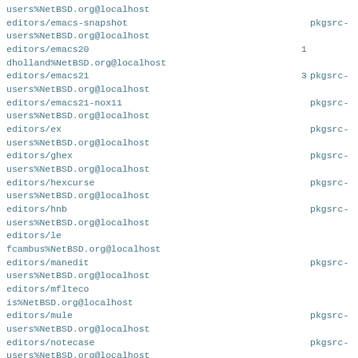users%NetBSD.org@localhost
editors/emacs-snapshot
users%NetBSD.org@localhost
editors/emacs20
dholland%NetBSD.org@localhost
editors/emacs21
users%NetBSD.org@localhost
editors/emacs21-nox11
users%NetBSD.org@localhost
editors/ex
users%NetBSD.org@localhost
editors/ghex
users%NetBSD.org@localhost
editors/hexcurse
users%NetBSD.org@localhost
editors/hnb
users%NetBSD.org@localhost
editors/le
fcambus%NetBSD.org@localhost
editors/manedit
users%NetBSD.org@localhost
editors/mflteco
is%NetBSD.org@localhost
editors/mule
users%NetBSD.org@localhost
editors/notecase
users%NetBSD.org@localhost
editors/nvi-m17n
users%NetBSD.org@localhost
editors/obby
users%NetBSD.org@localhost